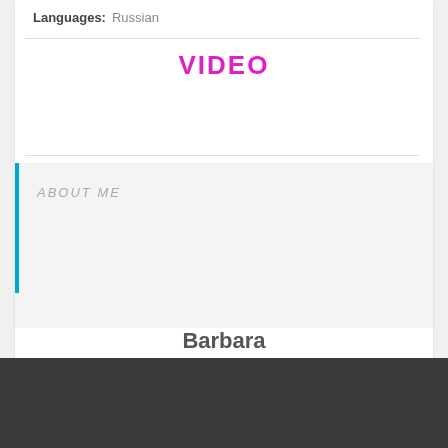Languages: Russian
VIDEO
ABOUT ME
Barbara
[Figure (photo): A blonde woman in a black sleeveless top posed against an ornate gold decorative wall panel, resting her chin on her hand.]
Girls with video
Show me!